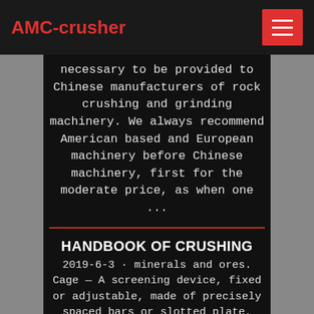AMC-crusher
necessary to be provided to Chinese manufacturers of rock crushing and grinding machinery. We always recommend American based and European machinery before Chinese machinery, first for the moderate price, as when one ...
HANDBOOK OF CRUSHING
2019-6-3 · minerals and ores. Cage — A screening device, fixed or adjustable, made of precisely spaced bars or slotted plate, where final sizing is accomplished within the crusher. Choke Feed — Operating the crusher with a completely filled crushing chamber. Choke Point — Place in the crushing chamber having the minimum cross section. All compressionGold extraction - QueensMineDesignWiki2019-6-